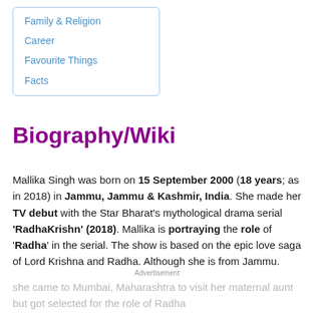Family & Religion
Career
Favourite Things
Facts
Biography/Wiki
Mallika Singh was born on 15 September 2000 (18 years; as in 2018) in Jammu, Jammu & Kashmir, India. She made her TV debut with the Star Bharat's mythological drama serial 'RadhaKrishn' (2018). Mallika is portraying the role of 'Radha' in the serial. The show is based on the epic love saga of Lord Krishna and Radha. Although she is from Jammu.
Advertisement
she came to Mumbai, Maharashtra to visit her maternal aunt but got selected for the role of Radha